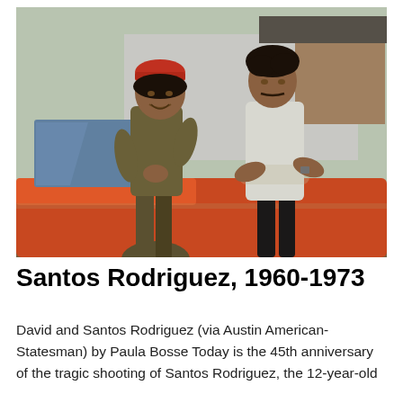[Figure (photo): Color photograph of two young men leaning against a red/orange car outdoors. The man on the left wears a red cap and olive green shirt. The man on the right wears a white/light button-up shirt with arms crossed. A building is visible in the background.]
Santos Rodriguez, 1960-1973
David and Santos Rodriguez (via Austin American-Statesman) by Paula Bosse Today is the 45th anniversary of the tragic shooting of Santos Rodriguez, the 12-year-old